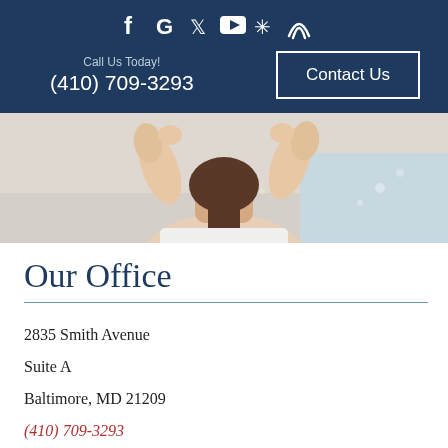Social icons: f G (twitter) (youtube) (yelp) (healthgrades)
Call Us Today! (410) 709-3293
Contact Us
[Figure (photo): Person with wet hair, possibly at a spa or medical/cosmetic setting, hands raised near head, light background]
Our Office
2835 Smith Avenue
Suite A
Baltimore, MD 21209
(410) 709-3293